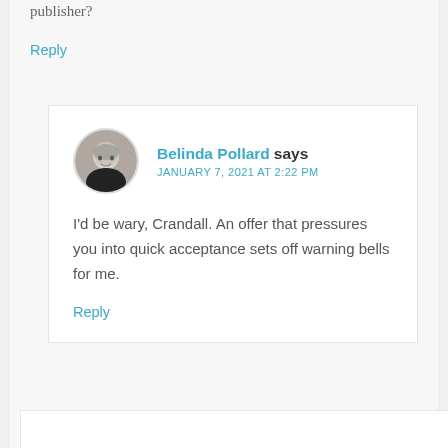publisher?
Reply
Belinda Pollard says
JANUARY 7, 2021 AT 2:22 PM
I'd be wary, Crandall. An offer that pressures you into quick acceptance sets off warning bells for me.
Reply